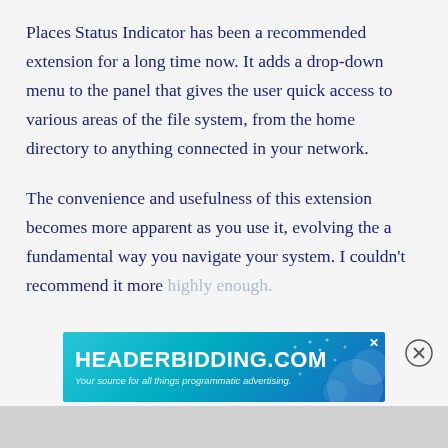Places Status Indicator has been a recommended extension for a long time now. It adds a drop-down menu to the panel that gives the user quick access to various areas of the file system, from the home directory to anything connected in your network.
The convenience and usefulness of this extension becomes more apparent as you use it, evolving the a fundamental way you navigate your system. I couldn't recommend it more highly enough.
[Figure (other): Advertisement banner for HEADERBIDDING.COM with tagline 'Your source for all things programmatic advertising.' on a teal/blue gradient background with decorative dot patterns.]